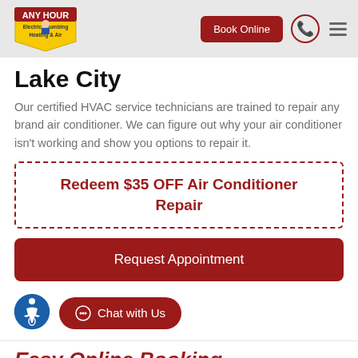[Figure (logo): Any Hour Electric Plumbing Heating & Air company logo — cartoon plumber mascot with yellow and red shield shape]
Lake City
Our certified HVAC service technicians are trained to repair any brand air conditioner. We can figure out why your air conditioner isn't working and show you options to repair it.
Redeem $35 OFF Air Conditioner Repair
Request Appointment
[Figure (illustration): Blue accessibility/wheelchair icon in a circle]
Chat with Us
Easy Online Booking